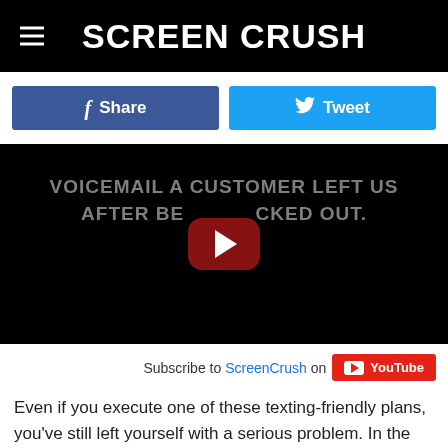Screen Crush
[Figure (screenshot): Facebook Share button and Twitter Tweet button side by side]
[Figure (screenshot): Embedded YouTube video with text 'VOICEMAIL A CUSTOMER LEFT US AFTER BE__CKED OUT.' and a play button overlay]
Subscribe to ScreenCrush on YouTube
Even if you execute one of these texting-friendly plans, you've still left yourself with a serious problem. In the short term, you might convince more teenagers to come to the movie theater. But in the long term you have essentially trained your